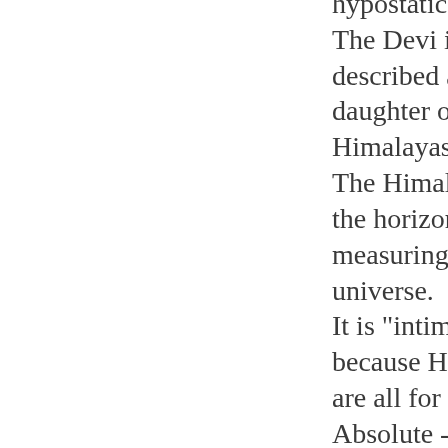hypostatic. The Devi is described as the daughter of the Himalayas. The Himalayas are the horizontal measuring rod of the universe. It is "intimate" because Her values are all for the Absolute - and that means for each devotee. Some of the pearls will fall to the bottom, some will overflow and some will stick, due to the coolness of the universal breath. This is an exchange of hypostatic and hierophantic values. Th...